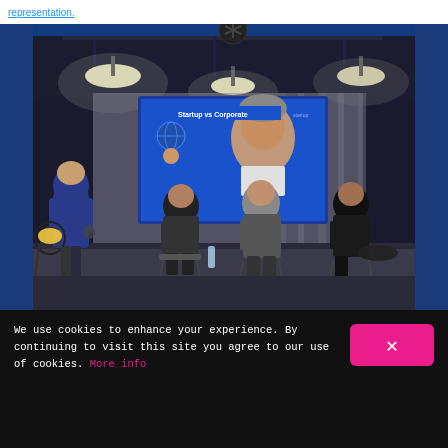representation.
[Figure (photo): Panel event photo showing four people seated in chairs in a dimly lit modern venue with pendant lights and a large projection screen displaying 'Startup vs Corporate' with a person's face on screen. A fifth person stands on the left holding a microphone. A yellow cushion is visible on a wire chair on the left.]
We use cookies to enhance your experience. By continuing to visit this site you agree to our use of cookies. More info